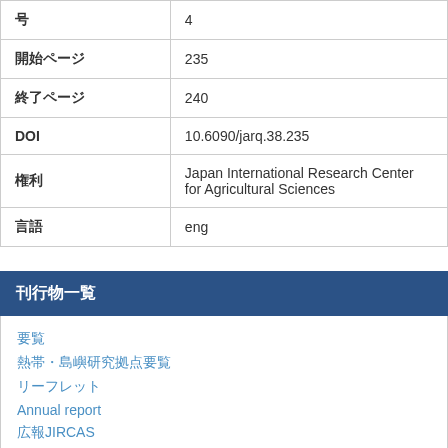| フィールド | 値 |
| --- | --- |
| 号 | 4 |
| 開始ページ | 235 |
| 終了ページ | 240 |
| DOI | 10.6090/jarq.38.235 |
| 権利 | Japan International Research Center for Agricultural Sciences |
| 言語 | eng |
刊行物一覧
要覧
熱帯・島嶼研究拠点要覧
リーフレット
Annual report
広報JIRCAS